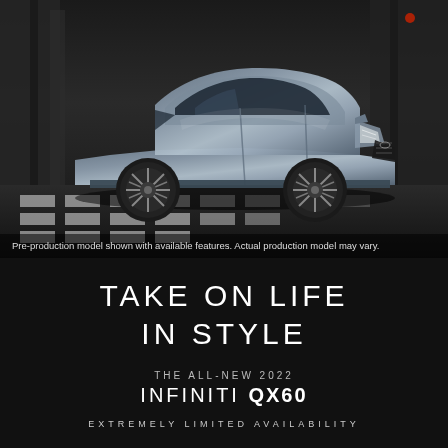[Figure (photo): Silver/blue Infiniti QX60 SUV driving through a city crosswalk, dark urban background with building architecture]
Pre-production model shown with available features. Actual production model may vary.
TAKE ON LIFE IN STYLE
THE ALL-NEW 2022
INFINITI QX60
EXTREMELY LIMITED AVAILABILITY